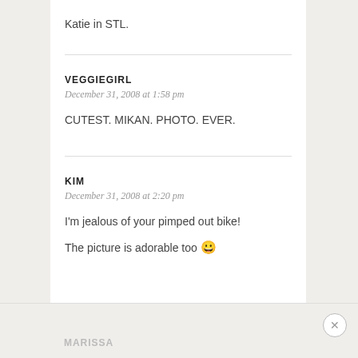Katie in STL.
VEGGIEGIRL
December 31, 2008 at 1:58 pm
CUTEST. MIKAN. PHOTO. EVER.
KIM
December 31, 2008 at 2:20 pm
I'm jealous of your pimped out bike!
The picture is adorable too 😀
MARISSA